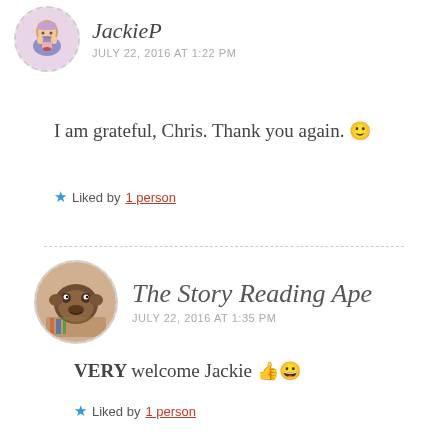JackieP
JULY 22, 2016 AT 1:22 PM
I am grateful, Chris. Thank you again. 🙂
★ Liked by 1 person
The Story Reading Ape
JULY 22, 2016 AT 1:35 PM
VERY welcome Jackie 👍😀
★ Liked by 1 person